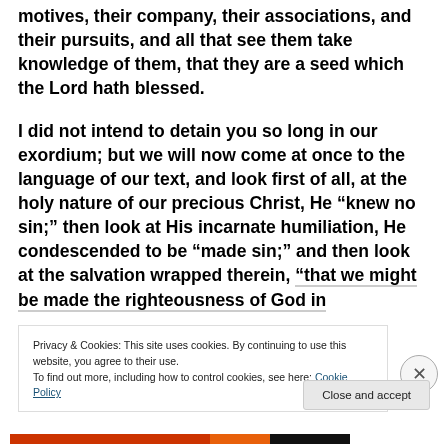motives, their company, their associations, and their pursuits, and all that see them take knowledge of them, that they are a seed which the Lord hath blessed.
I did not intend to detain you so long in our exordium; but we will now come at once to the language of our text, and look first of all, at the holy nature of our precious Christ, He “knew no sin;” then look at His incarnate humiliation, He condescended to be “made sin;” and then look at the salvation wrapped therein, “that we might be made the righteousness of God in
Privacy & Cookies: This site uses cookies. By continuing to use this website, you agree to their use.
To find out more, including how to control cookies, see here: Cookie Policy